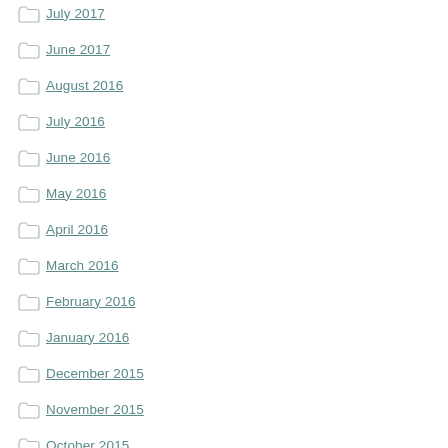July 2017
June 2017
August 2016
July 2016
June 2016
May 2016
April 2016
March 2016
February 2016
January 2016
December 2015
November 2015
October 2015
September 2015